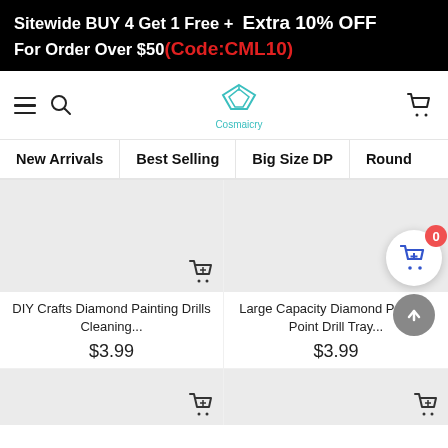Sitewide BUY 4 Get 1 Free + Extra 10% OFF For Order Over $50 (Code:CML10)
[Figure (screenshot): Navigation bar with hamburger menu, search icon, Cosmaicry logo in teal, and cart icon]
New Arrivals
Best Selling
Big Size DP
Round
DIY Crafts Diamond Painting Drills Cleaning...
$3.99
Large Capacity Diamond Painting Point Drill Tray...
$3.99